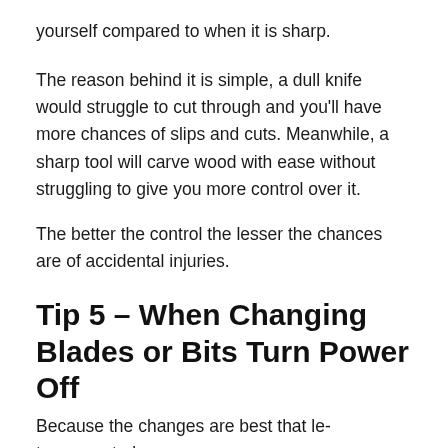yourself compared to when it is sharp.
The reason behind it is simple, a dull knife would struggle to cut through and you'll have more chances of slips and cuts. Meanwhile, a sharp tool will carve wood with ease without struggling to give you more control over it.
The better the control the lesser the chances are of accidental injuries.
Tip 5 – When Changing Blades or Bits Turn Power Off
Because...